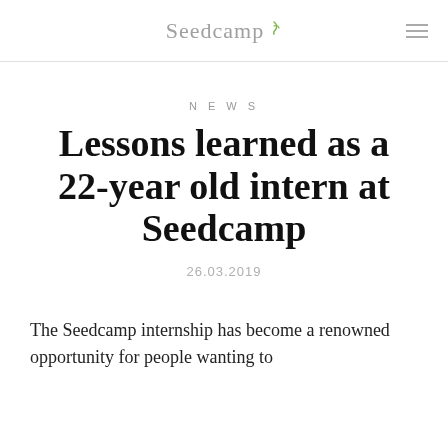Seedcamp
NEWS
Lessons learned as a 22-year old intern at Seedcamp
26.03.2019
The Seedcamp internship has become a renowned opportunity for people wanting to